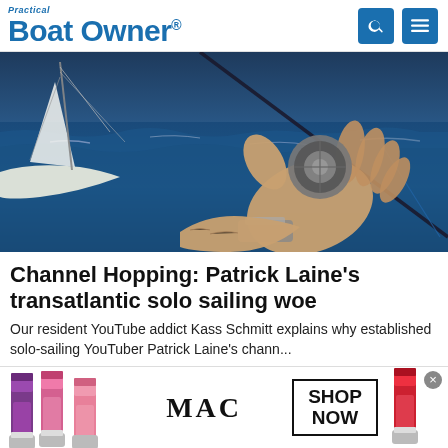Practical Boat Owner
[Figure (photo): A hand holding a fishing reel on a sailboat at sea, with blue ocean water and sailing rigging visible in the background]
Channel Hopping: Patrick Laine's transatlantic solo sailing woe
Our resident YouTube addict Kass Schmitt explains why established solo-sailing YouTuber Patrick Laine's chann...
Practical Boat Owner
[Figure (photo): MAC cosmetics advertisement showing lipsticks in purple, pink, and red colors with MAC logo and SHOP NOW button]